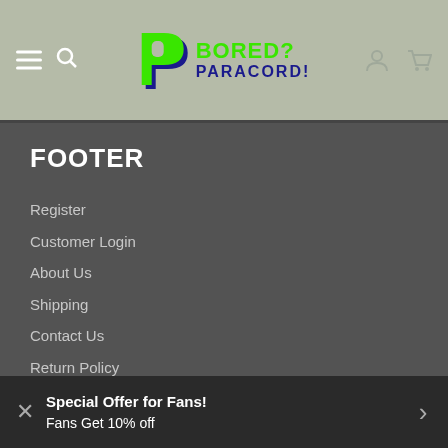Bored? Paracord! — navigation header with hamburger menu, search, logo, user icon, cart icon
FOOTER
Register
Customer Login
About Us
Shipping
Contact Us
Return Policy
Search
Useful Links
Blog
Special Offer for Fans! Fans Get 10% off